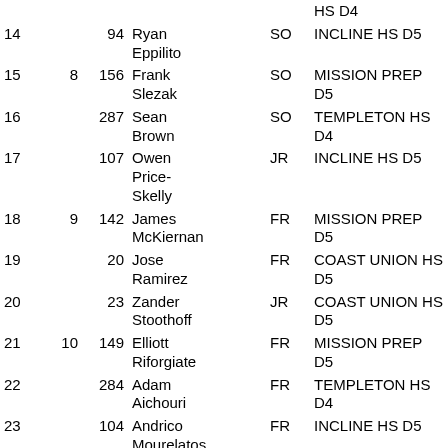| Place | Seed | Draw | Name | Yr | School |
| --- | --- | --- | --- | --- | --- |
| 14 |  | 94 | Ryan Eppilito | SO | INCLINE HS D5 |
| 15 | 8 | 156 | Frank Slezak | SO | MISSION PREP D5 |
| 16 |  | 287 | Sean Brown | SO | TEMPLETON HS D4 |
| 17 |  | 107 | Owen Price-Skelly | JR | INCLINE HS D5 |
| 18 | 9 | 142 | James McKiernan | FR | MISSION PREP D5 |
| 19 |  | 20 | Jose Ramirez | FR | COAST UNION HS D5 |
| 20 |  | 23 | Zander Stoothoff | JR | COAST UNION HS D5 |
| 21 | 10 | 149 | Elliott Riforgiate | FR | MISSION PREP D5 |
| 22 |  | 284 | Adam Aichouri | FR | TEMPLETON HS D4 |
| 23 |  | 104 | Andrico Mourelatos | FR | INCLINE HS D5 |
| 24 | 11 | 162 | Jerry Zhang | JR | MISSION PREP D5 |